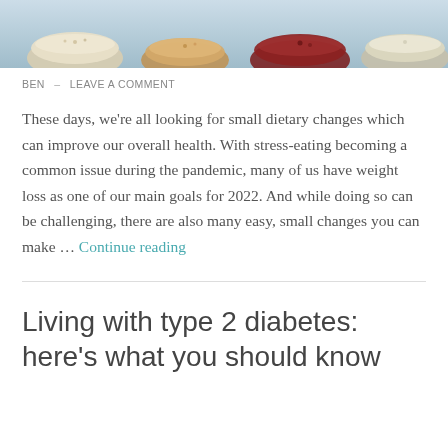[Figure (photo): Overhead view of various bowls containing grains, legumes, nuts and seeds on a light background]
BEN  –  LEAVE A COMMENT
These days, we're all looking for small dietary changes which can improve our overall health. With stress-eating becoming a common issue during the pandemic, many of us have weight loss as one of our main goals for 2022. And while doing so can be challenging, there are also many easy, small changes you can make … Continue reading
Living with type 2 diabetes: here's what you should know